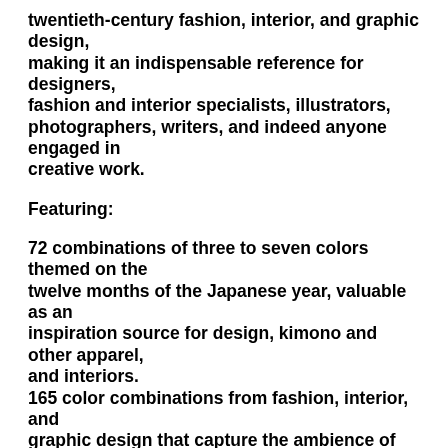twentieth-century fashion, interior, and graphic design, making it an indispensable reference for designers, fashion and interior specialists, illustrators, photographers, writers, and indeed anyone engaged in creative work.
Featuring:
72 combinations of three to seven colors themed on the twelve months of the Japanese year, valuable as an inspiration source for design, kimono and other apparel, and interiors.
165 color combinations from fashion, interior, and graphic design that capture the ambience of 1910s to 1930s Japan for illustrators and others seeking to recreate the authentic look and feel of the period. Color names in Japanese and English. 172 removable color chips
Sanzo Wada (1883–1967)'s interest in the importance of color prompted him to found the Japan Standard Color